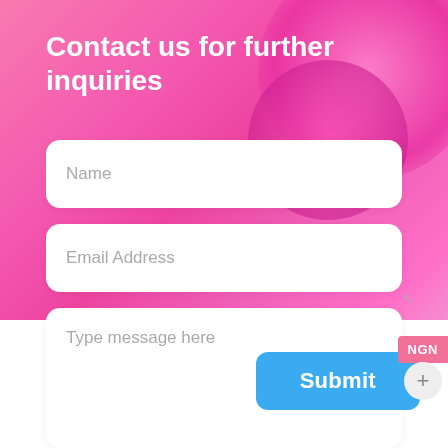Contact us for further inquiries
Name
Email Address
Type message here
Submit